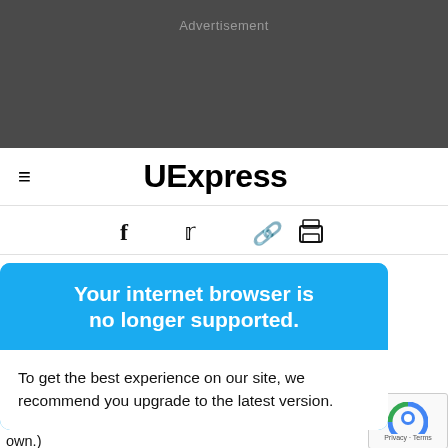Advertisement
UExpress
[Figure (screenshot): Navigation icons: Facebook (f), Twitter bird, link/chain icon, print icon]
Your internet browser is no longer supported.
To get the best experience on our site, we recommend you upgrade to the latest version.
tarted wearing things with ed to store neone has been told me own.)